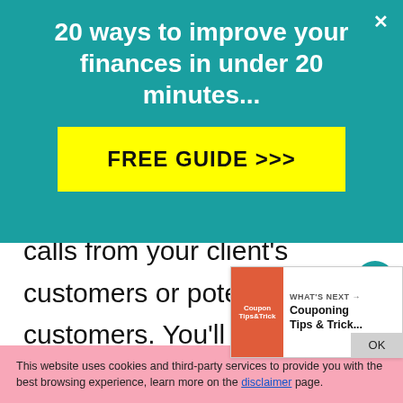[Figure (infographic): Teal banner advertisement overlay: '20 ways to improve your finances in under 20 minutes...' with a yellow 'FREE GUIDE >>>' button and an X close button in the top right corner.]
calls from your client's customers or potential customers. You'll need a quiet area so you don't get interrupted during phone calls and a land phone
[Figure (infographic): Side UI widget with teal heart/like button showing count '1' and a share button with a plus icon.]
[Figure (infographic): WHAT'S NEXT card in bottom right: thumbnail image and text 'Couponing Tips & Trick...' with an OK button.]
This website uses cookies and third-party services to provide you with the best browsing experience, learn more on the disclaimer page.